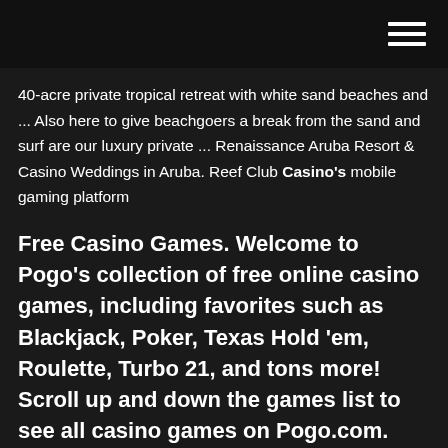40-acre private tropical retreat with white sand beaches and ... Also here to give beachgoers a break from the sand and surf are our luxury private ... Renaissance Aruba Resort & Casino Weddings in Aruba. Reef Club Casino's mobile gaming platform
Free Casino Games. Welcome to Pogo's collection of free online casino games, including favorites such as Blackjack, Poker, Texas Hold 'em, Roulette, Turbo 21, and tons more! Scroll up and down the games list to see all casino games on Pogo.com.
Casino Island to Go for PC Reviews - Metacritic Metacritic Game Reviews Casino Island to Go for PC is Casino Island to Go...